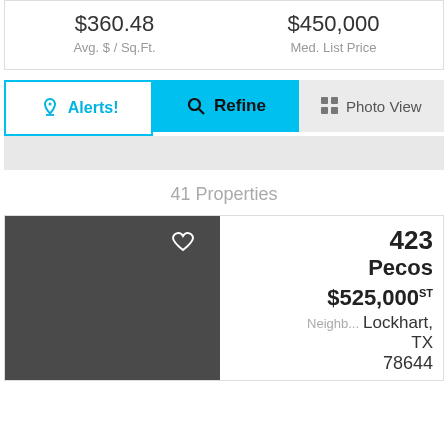$360.48 Avg. $ / Sq.Ft.
$450,000 Med. List Price
Alerts!
Refine
Photo View
41 Properties
423 Pecos $525,000 ST Neighb... Lockhart, TX 78644